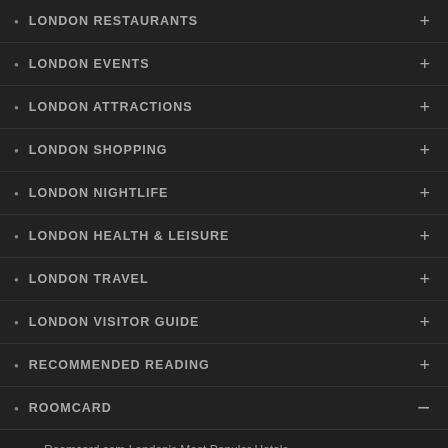LONDON RESTAURANTS
LONDON EVENTS
LONDON ATTRACTIONS
LONDON SHOPPING
LONDON NIGHTLIFE
LONDON HEALTH & LEISURE
LONDON TRAVEL
LONDON VISITOR GUIDE
RECOMMENDED READING
ROOMCARD
Roomcard.com London's Most Popular Hotels